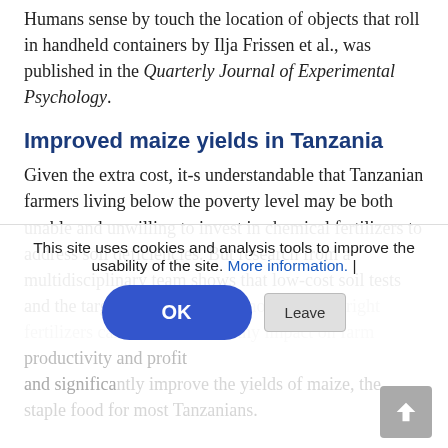Humans sense by touch the location of objects that roll in handheld containers by Ilja Frissen et al., was published in the Quarterly Journal of Experimental Psychology.
Improved maize yields in Tanzania
Given the extra cost, it-s understandable that Tanzanian farmers living below the poverty level may be both unable and unwilling to invest in chemical fertilizers to address soil deficiencies. But research from a multidisciplinary team shows that low-cost soil tests and the targeted use of small amounts of the right fertilizers can have a noteworthy impact on farm productivity and profit and significantly improve the yields of maize, the staple food for most Tanzanians.
This site uses cookies and analysis tools to improve the usability of the site. More information. |